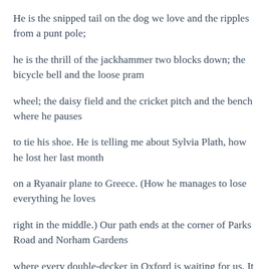He is the snipped tail on the dog we love and the ripples from a punt pole;
he is the thrill of the jackhammer two blocks down; the bicycle bell and the loose pram
wheel; the daisy field and the cricket pitch and the bench where he pauses
to tie his shoe. He is telling me about Sylvia Plath, how he lost her last month
on a Ryanair plane to Greece. (How he manages to lose everything he loves
right in the middle.) Our path ends at the corner of Parks Road and Norham Gardens
where every double-decker in Oxford is waiting for us. It is June,
and the last day we will see each other, and the whole city feels like it